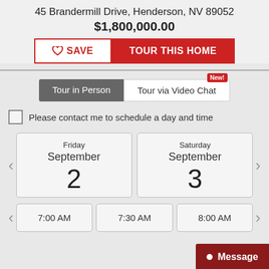45 Brandermill Drive, Henderson, NV 89052
$1,800,000.00
SAVE | TOUR THIS HOME
Tour in Person | Tour via Video Chat (New!)
Please contact me to schedule a day and time
Friday September 2
Saturday September 3
7:00 AM
7:30 AM
8:00 AM
Message